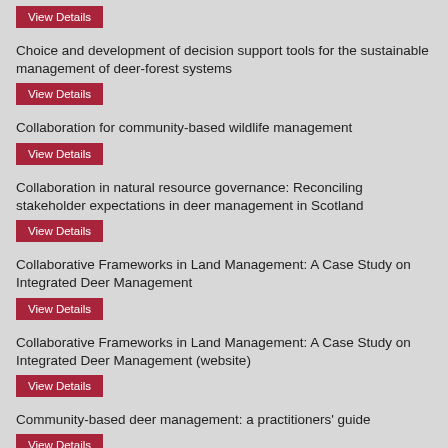View Details
Choice and development of decision support tools for the sustainable management of deer-forest systems
View Details
Collaboration for community-based wildlife management
View Details
Collaboration in natural resource governance: Reconciling stakeholder expectations in deer management in Scotland
View Details
Collaborative Frameworks in Land Management: A Case Study on Integrated Deer Management
View Details
Collaborative Frameworks in Land Management: A Case Study on Integrated Deer Management (website)
View Details
Community-based deer management: a practitioners' guide
View Details